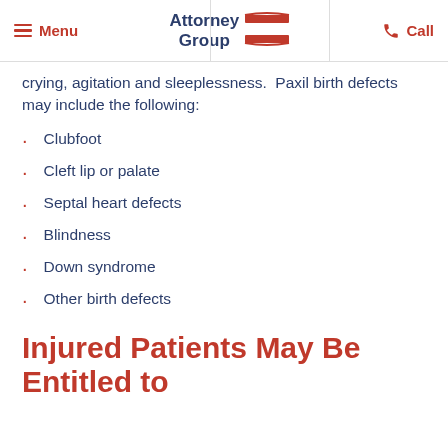Menu | Attorney Group | Call
crying, agitation and sleeplessness. Paxil birth defects may include the following:
Clubfoot
Cleft lip or palate
Septal heart defects
Blindness
Down syndrome
Other birth defects
Injured Patients May Be Entitled to